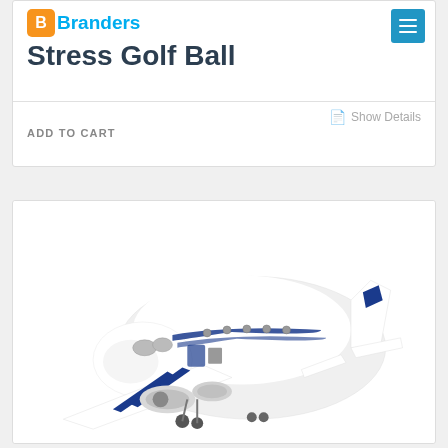[Figure (logo): Branders logo with orange B icon and blue text]
Stress Golf Ball
Show Details
ADD TO CART
[Figure (photo): White foam stress toy shaped like an airplane with blue markings and navy details, viewed from front-right angle]